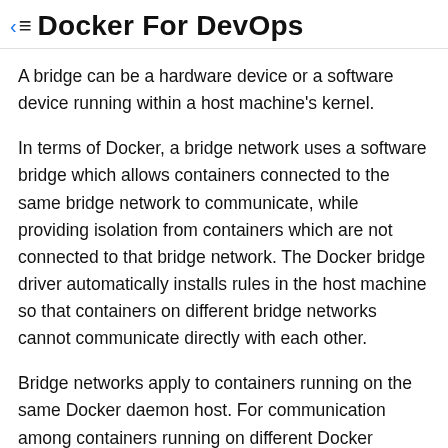Docker For DevOps
A bridge can be a hardware device or a software device running within a host machine's kernel.
In terms of Docker, a bridge network uses a software bridge which allows containers connected to the same bridge network to communicate, while providing isolation from containers which are not connected to that bridge network. The Docker bridge driver automatically installs rules in the host machine so that containers on different bridge networks cannot communicate directly with each other.
Bridge networks apply to containers running on the same Docker daemon host. For communication among containers running on different Docker daemon hosts, you